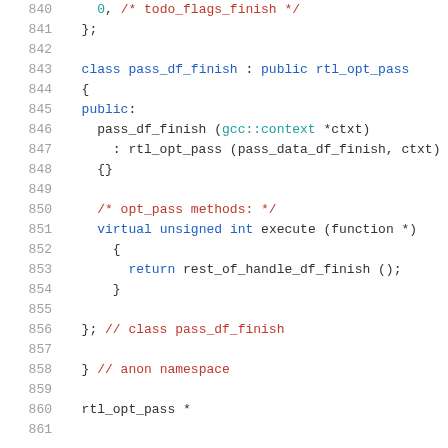Source code listing, lines 840-861, C++ class definition for pass_df_finish